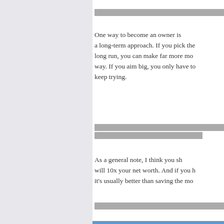[redacted line]
One way to become an owner is [to take] a long-term approach. If you pick the [right stocks in the] long run, you can make far more mo[ney that] way. If you aim big, you only have to [work hard and] keep trying.
[redacted lines]
As a general note, I think you sh[ould invest in things that] will 10x your net worth. And if you h[ave extra money,] it's usually better than saving the mo[ney in a bank].
[redacted line]